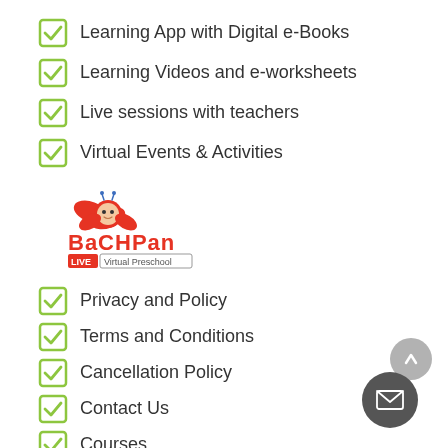Learning App with Digital e-Books
Learning Videos and e-worksheets
Live sessions with teachers
Virtual Events & Activities
[Figure (logo): Bachpan Live Virtual Preschool logo with cartoon bird mascot and red BACHPAN text]
Privacy and Policy
Terms and Conditions
Cancellation Policy
Contact Us
Courses